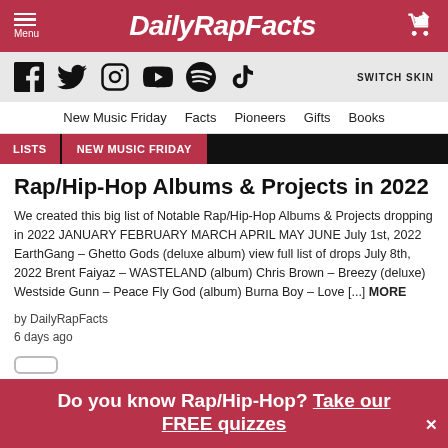DailyRapFacts
[Figure (other): Social media icons: Facebook, Twitter, Instagram, YouTube, Spotify, TikTok]
New Music Friday   Facts   Pioneers   Gifts   Books
LISTS   NEW MUSIC FRIDAY
Rap/Hip-Hop Albums & Projects in 2022
We created this big list of Notable Rap/Hip-Hop Albums & Projects dropping in 2022 JANUARY FEBRUARY MARCH APRIL MAY JUNE July 1st, 2022 EarthGang – Ghetto Gods (deluxe album) view full list of drops July 8th, 2022 Brent Faiyaz – WASTELAND (album) Chris Brown – Breezy (deluxe) Westside Gunn – Peace Fly God (album) Burna Boy – Love [...] MORE
by DailyRapFacts
6 days ago
Do you know Rap/Hip-Hop? Take our FREE quizzes